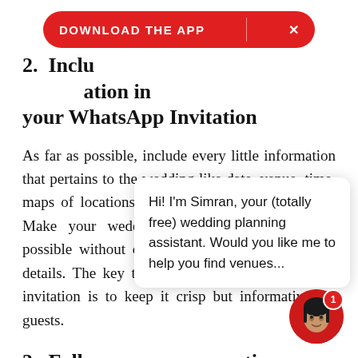2. Include [all the relevant] information in your WhatsApp Invitation
As far as possible, include every little information that pertains to the wedding like date, venue, time, maps of locations, dress codes as well as RSVP. Make your wedding invite as informative as possible without overloading it with unnecessary details. The key to writing the perfect Whatsapp invitation is to keep it crisp but informative for guests.
3. Follow [up on confirmation]ation
Sending [a WhatsApp message to guests at your] wedding? Well, in th[is digital world, it is easy to follow] up [with] guests th[at you've invited and ensure that they] ts g[et an] instant reply to an e-invite. But it's sometimes